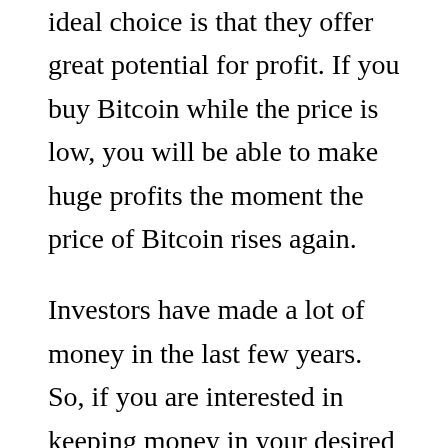ideal choice is that they offer great potential for profit. If you buy Bitcoin while the price is low, you will be able to make huge profits the moment the price of Bitcoin rises again.
Investors have made a lot of money in the last few years. So, if you are interested in keeping money in your desired cryptocurrency, chances are.
4. Easy to use